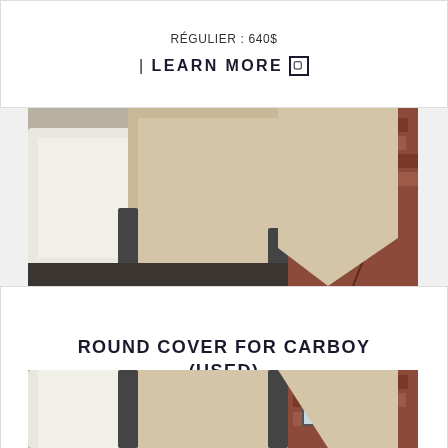RÉGULIER : 640$
| LEARN MORE ▢
[Figure (photo): Outdoor lounge chairs with beige/tan fabric covers, seen from close up with a brick building in background]
ROUND COVER FOR CARBOY (USED)
PRIX : 25$
RÉGULIER : 125$
| LEARN MORE ▢
[Figure (photo): Same outdoor lounge chairs with beige/tan fabric covers, partial view at bottom of page]